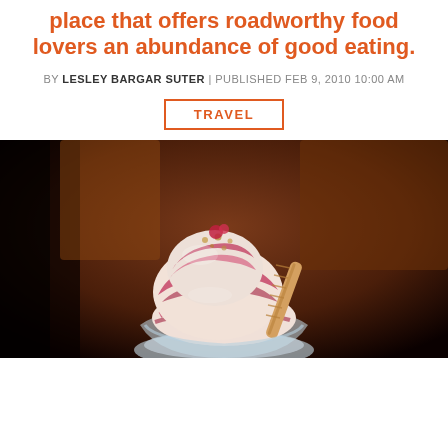place that offers roadworthy food lovers an abundance of good eating.
BY LESLEY BARGAR SUTER | PUBLISHED FEB 9, 2010 10:00 AM
TRAVEL
[Figure (photo): Ice cream sundae with raspberry or berry swirl topping in a glass dish, with a decorative waffle cone/straw, warm dark background with wooden furniture]